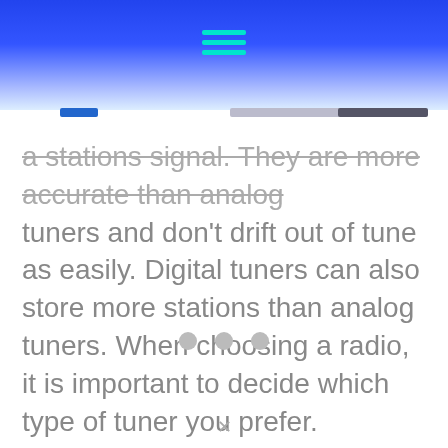[Figure (other): Blue gradient header bar with hamburger menu icon made of three teal/cyan horizontal lines]
a stations signal. They are more accurate than analog tuners and don't drift out of tune as easily. Digital tuners can also store more stations than analog tuners. When choosing a radio, it is important to decide which type of tuner you prefer.